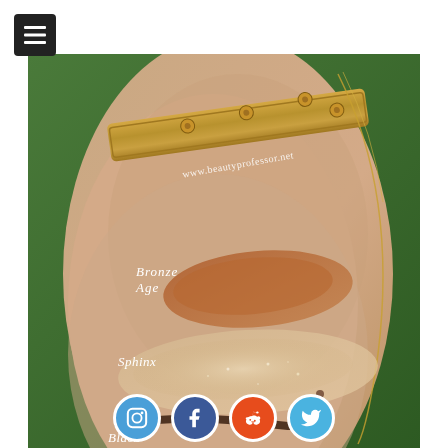[Figure (photo): Close-up photo of a wrist/arm with makeup swatches labeled 'Bronze Age', 'Sphinx', and 'Black', with a gold Cartier Love bracelet and chain necklace visible. Website watermark reads www.beautyprofessor.net]
Bronze Age, Sphinx, Black